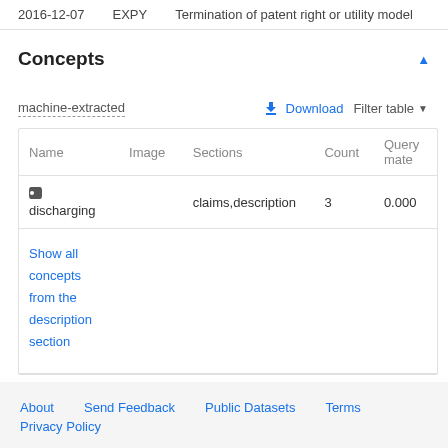| 2016-12-07 | EXPY | Termination of patent right or utility model |
Concepts
machine-extracted
| Name | Image | Sections | Count | Query mate |
| --- | --- | --- | --- | --- |
| discharging |  | claims,description | 3 | 0.000 |
| Show all concepts from the description section |  |  |  |  |
About   Send Feedback   Public Datasets   Terms
Privacy Policy